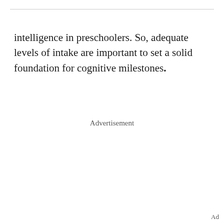intelligence in preschoolers. So, adequate levels of intake are important to set a solid foundation for cognitive milestones.
Advertisement
Ad